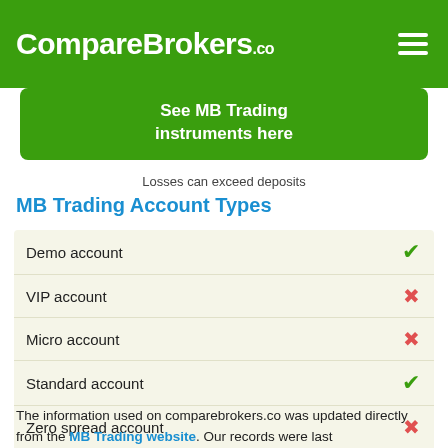CompareBrokers.co
See MB Trading instruments here
Losses can exceed deposits
MB Trading Account Types
| Account Type | Available |
| --- | --- |
| Demo account | ✓ |
| VIP account | ✗ |
| Micro account | ✗ |
| Standard account | ✓ |
| Zero spread account | ✗ |
| Islamic account | ✗ |
The information used on comparebrokers.co was updated directly from the MB Trading website. Our records were last updated.